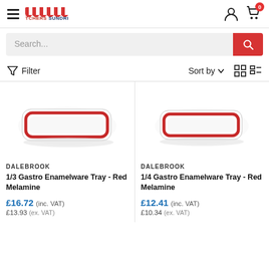Butchers Sundries - navigation header with logo, hamburger menu, user icon and cart (0)
Search...
Filter  Sort by
[Figure (photo): 1/3 Gastro Enamelware Tray - Red Melamine product image, white rectangular tray with red rim border]
DALEBROOK
1/3 Gastro Enamelware Tray - Red Melamine
£16.72 (inc. VAT)
£13.93 (ex. VAT)
[Figure (photo): 1/4 Gastro Enamelware Tray - Red Melamine product image, white rectangular tray with red rim border]
DALEBROOK
1/4 Gastro Enamelware Tray - Red Melamine
£12.41 (inc. VAT)
£10.34 (ex. VAT)